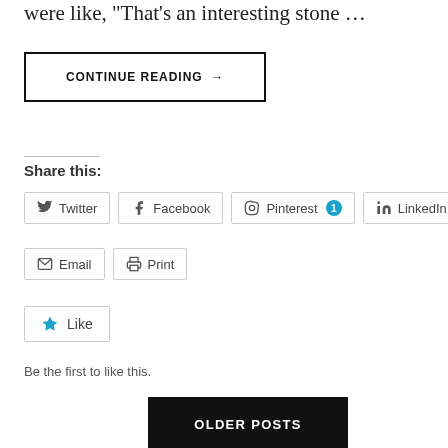were like, "That's an interesting stone …"
CONTINUE READING →
Share this:
Twitter
Facebook
Pinterest 1
LinkedIn
Email
Print
Like
Be the first to like this.
OLDER POSTS